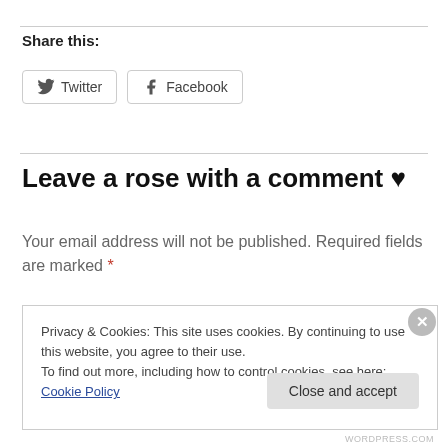Share this:
Twitter  Facebook
Leave a rose with a comment ♥
Your email address will not be published. Required fields are marked *
Privacy & Cookies: This site uses cookies. By continuing to use this website, you agree to their use. To find out more, including how to control cookies, see here: Cookie Policy
Close and accept